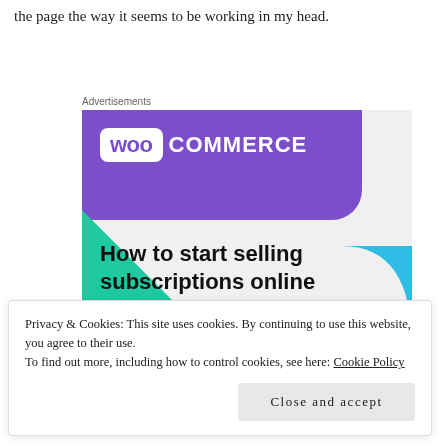the page the way it seems to be working in my head.
Advertisements
[Figure (illustration): WooCommerce advertisement banner with purple header containing WooCommerce logo, teal and cyan geometric shapes, headline text 'How to start selling subscriptions online', and a purple button at the bottom.]
Privacy & Cookies: This site uses cookies. By continuing to use this website, you agree to their use.
To find out more, including how to control cookies, see here: Cookie Policy
Close and accept